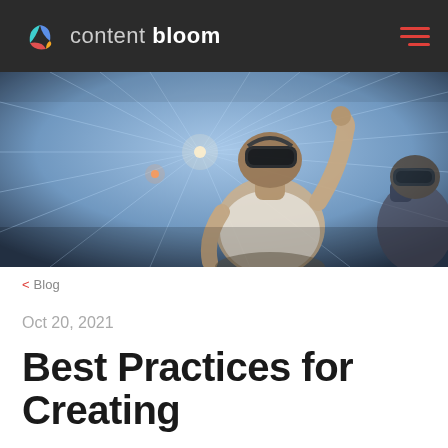content bloom
[Figure (photo): Two people wearing VR headsets in a glowing blue digital environment; one has hand raised.]
< Blog
Oct 20, 2021
Best Practices for Creating